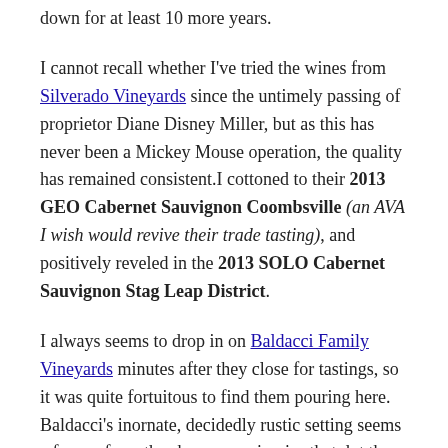down for at least 10 more years.
I cannot recall whether I've tried the wines from Silverado Vineyards since the untimely passing of proprietor Diane Disney Miller, but as this has never been a Mickey Mouse operation, the quality has remained consistent. I cottoned to their 2013 GEO Cabernet Sauvignon Coombsville (an AVA I wish would revive their trade tasting), and positively reveled in the 2013 SOLO Cabernet Sauvignon Stag Leap District.
I always seems to drop in on Baldacci Family Vineyards minutes after they close for tastings, so it was quite fortuitous to find them pouring here. Baldacci's inornate, decidedly rustic setting seems a far cry from the showcase wineries that dot the Silverado Trail, yet belies the sophistication of their viticulture. I tend to think of this winery first for its white wines, and the superb 2014 Sorelle Chardonnay poured here